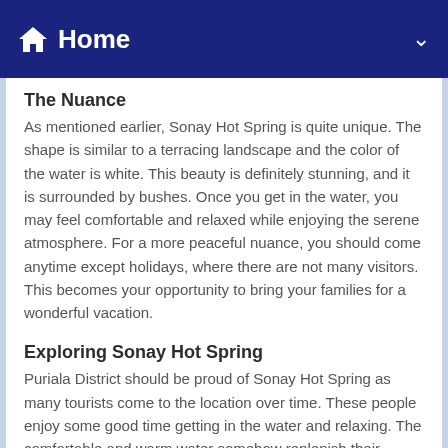Home
The Nuance
As mentioned earlier, Sonay Hot Spring is quite unique. The shape is similar to a terracing landscape and the color of the water is white. This beauty is definitely stunning, and it is surrounded by bushes. Once you get in the water, you may feel comfortable and relaxed while enjoying the serene atmosphere. For a more peaceful nuance, you should come anytime except holidays, where there are not many visitors. This becomes your opportunity to bring your families for a wonderful vacation.
Exploring Sonay Hot Spring
Puriala District should be proud of Sonay Hot Spring as many tourists come to the location over time. These people enjoy some good time getting in the water and relaxing. The comfortable and warm water somehow replenish their stamina and remove bad particles off the skin. Some people even say the water is quite beneficial to the health and lower the blood tension. Apart from the benefits, the hot spring is also a nice tourist site